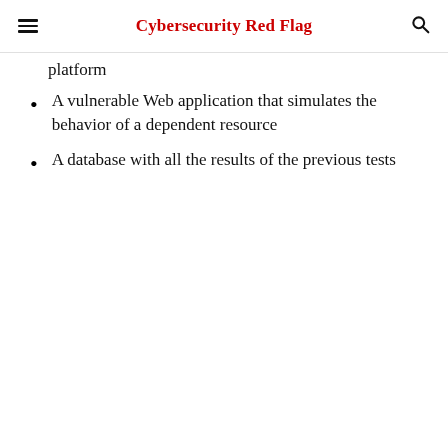Cybersecurity Red Flag
platform
A vulnerable Web application that simulates the behavior of a dependent resource
A database with all the results of the previous tests